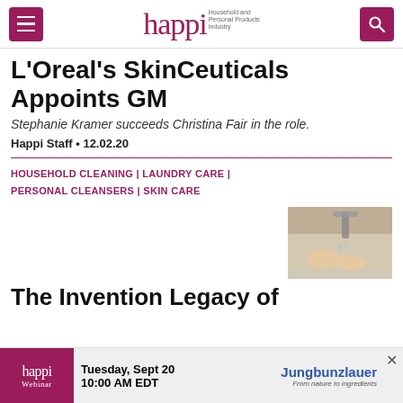happi — Household and Personal Products Industry
L'Oreal's SkinCeuticals Appoints GM
Stephanie Kramer succeeds Christina Fair in the role.
Happi Staff • 12.02.20
HOUSEHOLD CLEANING | LAUNDRY CARE | PERSONAL CLEANSERS | SKIN CARE
[Figure (photo): Photo of hands washing at a sink]
The Invention Legacy of
happi Webinar  Tuesday, Sept 20  10:00 AM EDT  Jungbunzlauer — From nature to ingredients